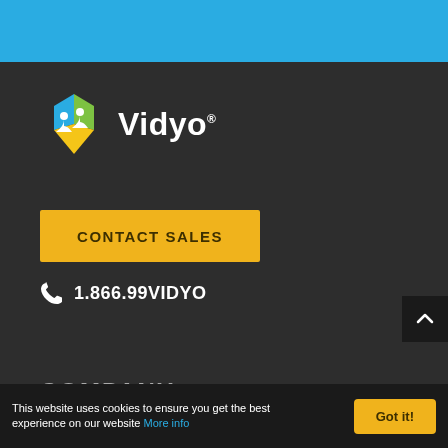[Figure (logo): Vidyo logo with hexagon icon in blue, green, yellow colors and white silhouettes, with Vidyo wordmark in white]
CONTACT SALES
1.866.99VIDYO
COMPANY
This website uses cookies to ensure you get the best experience on our website More info
Got it!